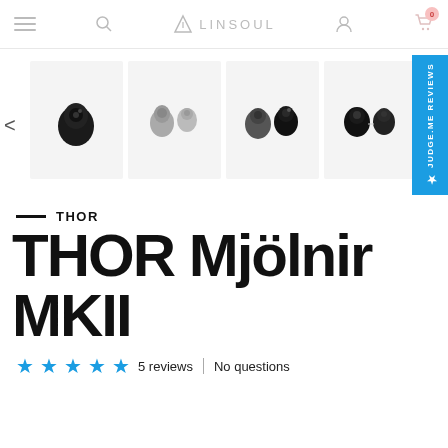LINSOUL
[Figure (screenshot): Product image gallery showing 6 thumbnail images of THOR Mjölnir MKII earphones from different angles, with a left navigation arrow. Images show small earphone monitors in black and grey colorways. The last thumbnail shows braided cable.]
THOR
THOR Mjölnir MKII
★★★★★ 5 reviews | No questions